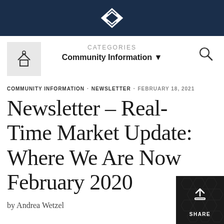[Figure (logo): Real estate company logo with stylized house/chain link diamond shape in white on dark navy background header bar]
CATEGORIES
Community Information ▼
[Figure (other): Home icon in a gray square, top left navigation]
[Figure (other): Search (magnifying glass) icon, top right]
COMMUNITY INFORMATION · NEWSLETTER · FEBRUARY 18, 2021
Newsletter – Real-Time Market Update: Where We Are Now February 2020
by Andrea Wetzel
[Figure (other): Share button with upload arrow icon on dark hexagonal patterned background, bottom right corner]